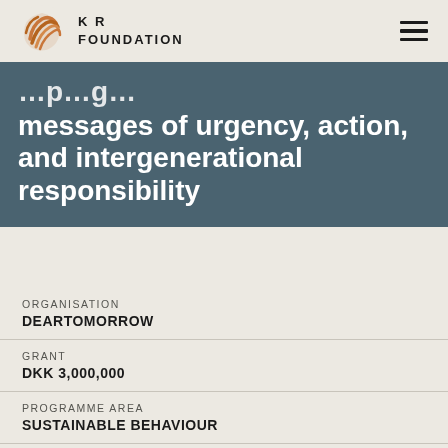KR FOUNDATION
…promoting messages of urgency, action, and intergenerational responsibility
ORGANISATION
DEARTOMORROW
GRANT
DKK 3,000,000
PROGRAMME AREA
SUSTAINABLE BEHAVIOUR